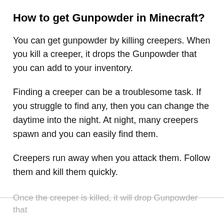How to get Gunpowder in Minecraft?
You can get gunpowder by killing creepers. When you kill a creeper, it drops the Gunpowder that you can add to your inventory.
Finding a creeper can be a troublesome task. If you struggle to find any, then you can change the daytime into the night. At night, many creepers spawn and you can easily find them.
Creepers run away when you attack them. Follow them and kill them quickly.
Once the creeper is killed, it will drop Gunpowder that